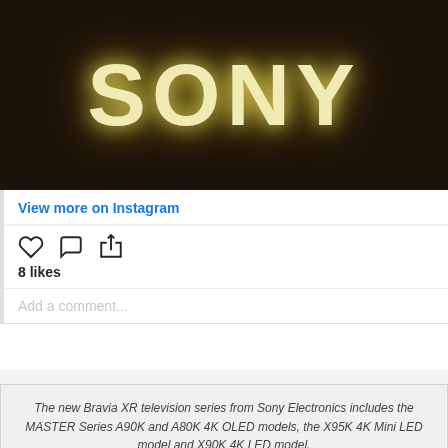[Figure (photo): Sony illuminated logo sign on dark background]
View more on Instagram
[Figure (illustration): Instagram action icons: heart (like), speech bubble (comment), share/upload]
8 likes
Add a comment...
The new Bravia XR television series from Sony Electronics includes the MASTER Series A90K and A80K 4K OLED models, the X95K 4K Mini LED model and X90K 4K LED model.
The models and price & availability of the 2022 Bravia XR TVs in Singapore can be found here.